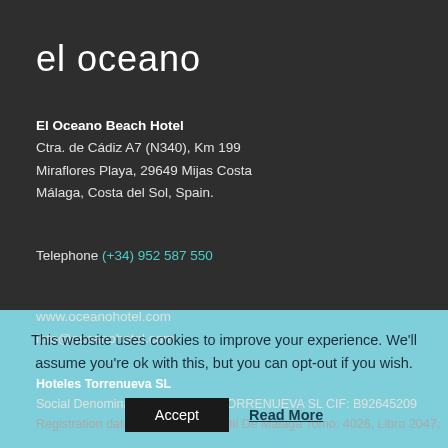el oceano
El Oceano Beach Hotel
Ctra. de Cádiz A7 (N340), Km 199
Miraflores Playa, 29649 Mijas Costa
Málaga, Costa del Sol, Spain.
Telephone (+34) 952 587 550
www.oceanohotel.com
info@oceanohotel.com
Hoteles Torrenueva SL
Social Denomination: HOTELES TORRENUEVA SL CIF: B92645209
Registration data: Registro Mercantil De Málaga Tomo: 4026, Libro 2047,
This website uses cookies to improve your experience. We'll assume you're ok with this, but you can opt-out if you wish.
Accept   Read More